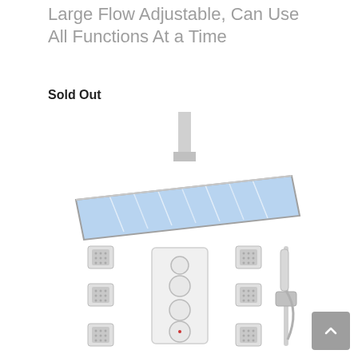Large Flow Adjustable, Can Use All Functions At a Time
Sold Out
[Figure (photo): Complete thermostatic shower system product photo showing: a large square LED rainfall shower head with blue LED lighting mounted on ceiling pipe; six square body jets arranged in two columns; a white rectangular thermostatic valve panel with four round control knobs; and a hand shower unit with chrome holder mounted on a bar. All components are chrome/white finish on white background.]